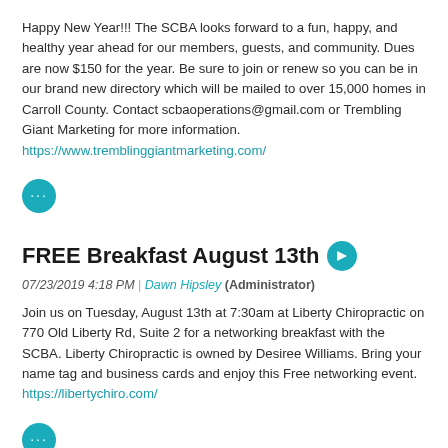Happy New Year!!! The SCBA looks forward to a fun, happy, and healthy year ahead for our members, guests, and community. Dues are now $150 for the year. Be sure to join or renew so you can be in our brand new directory which will be mailed to over 15,000 homes in Carroll County. Contact scbaoperations@gmail.com or Trembling Giant Marketing for more information. https://www.tremblinggiantmarketing.com/
[Figure (other): Teal circular icon with three dots (more options / ellipsis button)]
FREE Breakfast August 13th
07/23/2019 4:18 PM | Dawn Hipsley (Administrator)
Join us on Tuesday, August 13th at 7:30am at Liberty Chiropractic on 770 Old Liberty Rd, Suite 2 for a networking breakfast with the SCBA. Liberty Chiropractic is owned by Desiree Williams. Bring your name tag and business cards and enjoy this Free networking event. https://libertychiro.com/
[Figure (other): Teal circular icon with three dots (more options / ellipsis button), partially visible at bottom]